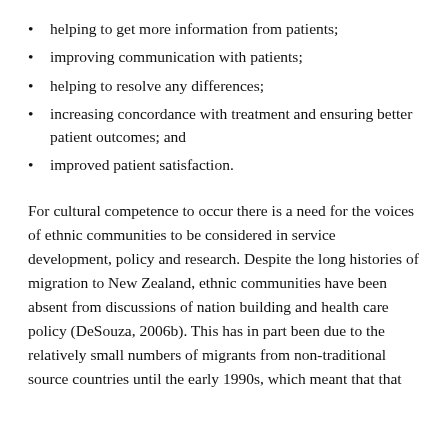helping to get more information from patients;
improving communication with patients;
helping to resolve any differences;
increasing concordance with treatment and ensuring better patient outcomes; and
improved patient satisfaction.
For cultural competence to occur there is a need for the voices of ethnic communities to be considered in service development, policy and research. Despite the long histories of migration to New Zealand, ethnic communities have been absent from discussions of nation building and health care policy (DeSouza, 2006b). This has in part been due to the relatively small numbers of migrants from non-traditional source countries until the early 1990s, which meant that that